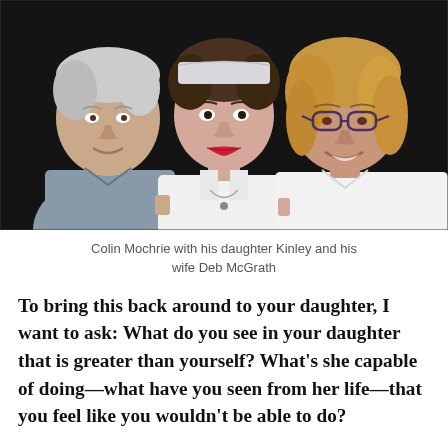[Figure (photo): Three people posing together for a photo against a dark background. On the left is an older man with white hair wearing a grey shirt. In the center is a younger person with curly brown hair wearing a white bandana and white sleeveless top with red lipstick. On the right is a woman with blonde hair wearing glasses and a white top, smiling.]
Colin Mochrie with his daughter Kinley and his wife Deb McGrath
To bring this back around to your daughter, I want to ask: What do you see in your daughter that is greater than yourself? What's she capable of doing—what have you seen from her life—that you feel like you wouldn't be able to do?